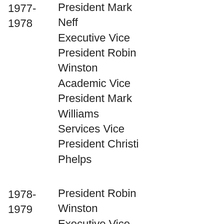1977-1978  President Mark Neff Executive Vice President Robin Winston Academic Vice President Mark Williams Services Vice President Christi Phelps
1978-1979  President Robin Winston Executive Vice President Ian Sonego Academic Vice President Scott Hudson Services Vice President Rick